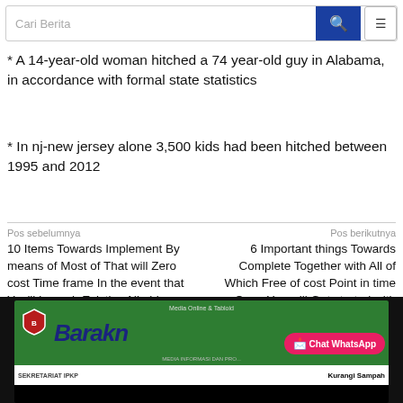Cari Berita [search bar]
* A 14-year-old woman hitched a 74 year-old guy in Alabama, in accordance with formal state statistics
* In nj-new jersey alone 3,500 kids had been hitched between 1995 and 2012
Pos sebelumnya
10 Items Towards Implement By means of Most of That will Zero cost Time frame In the event that You’ll Launch Existing Nimble
Pos berikutnya
6 Important things Towards Complete Together with All of Which Free of cost Point in time Once You will Get started with Surviving Quick
[Figure (screenshot): Screenshot of a news website banner showing 'Media Online & Tabloid Barakn...' with green background and shield logo, plus a Chat WhatsApp button in pink, and a bottom bar with SEKRETARIAT IPKP and Kurangi Sampah text.]